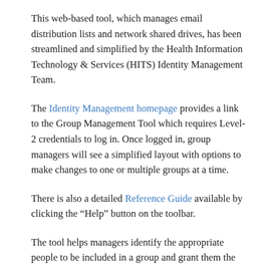This web-based tool, which manages email distribution lists and network shared drives, has been streamlined and simplified by the Health Information Technology & Services (HITS) Identity Management Team.
The Identity Management homepage provides a link to the Group Management Tool which requires Level-2 credentials to log in. Once logged in, group managers will see a simplified layout with options to make changes to one or multiple groups at a time.
There is also a detailed Reference Guide available by clicking the “Help” button on the toolbar.
The tool helps managers identify the appropriate people to be included in a group and grant them the permissions required to access internal Michigan Medicine resources. These managers can easily import or export entire lists of people as needed.
Processes for group members being given a one-time...